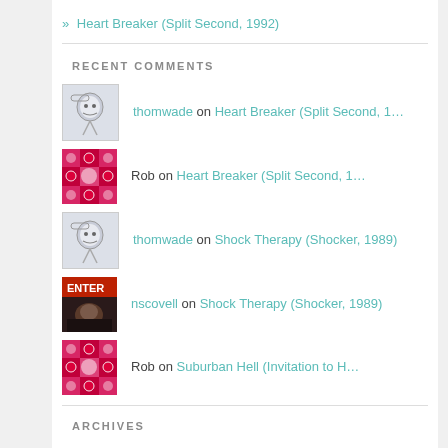» Heart Breaker (Split Second, 1992)
RECENT COMMENTS
thomwade on Heart Breaker (Split Second, 1...
Rob on Heart Breaker (Split Second, 1...
thomwade on Shock Therapy (Shocker, 1989)
nscovell on Shock Therapy (Shocker, 1989)
Rob on Suburban Hell (Invitation to H...
ARCHIVES